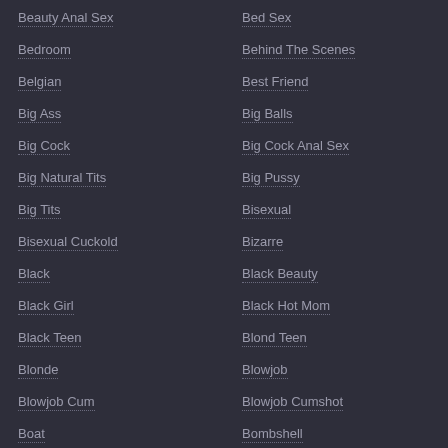Beauty Anal Sex
Bed Sex
Bedroom
Behind The Scenes
Belgian
Best Friend
Big Ass
Big Balls
Big Cock
Big Cock Anal Sex
Big Natural Tits
Big Pussy
Big Tits
Bisexual
Bisexual Cuckold
Bizarre
Black
Black Beauty
Black Girl
Black Hot Mom
Black Teen
Blond Teen
Blonde
Blowjob
Blowjob Cum
Blowjob Cumshot
Boat
Bombshell
Bondage
Boobs
Boots
Bound